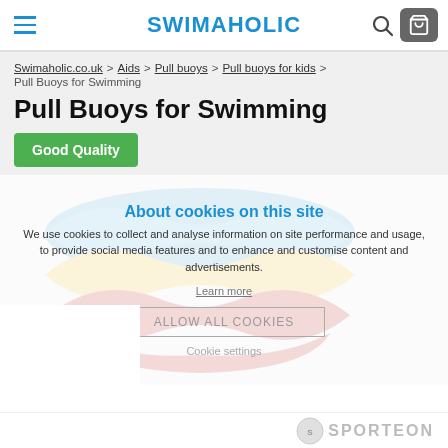SWIMAHOLIC
Swimaholic.co.uk > Aids > Pull buoys > Pull buoys for kids >
Pull Buoys for Swimming
Pull Buoys for Swimming
Good Quality
[Figure (photo): A pull buoy float for swimming — figure-8 shaped foam float in three colors: blue on top, yellow in middle, red on bottom.]
About cookies on this site
We use cookies to collect and analyse information on site performance and usage, to provide social media features and to enhance and customise content and advertisements.
Learn more
ALLOW ALL COOKIES
Cookie settings
SPORTEON